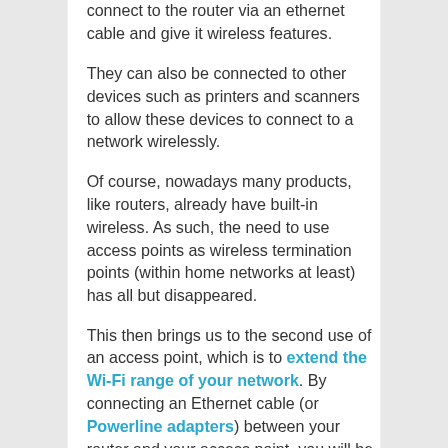connect to the router via an ethernet cable and give it wireless features.
They can also be connected to other devices such as printers and scanners to allow these devices to connect to a network wirelessly.
Of course, nowadays many products, like routers, already have built-in wireless. As such, the need to use access points as wireless termination points (within home networks at least) has all but disappeared.
This then brings us to the second use of an access point, which is to extend the Wi-Fi range of your network. By connecting an Ethernet cable (or Powerline adapters) between your router and your access point, you will be able to increase the distance in which